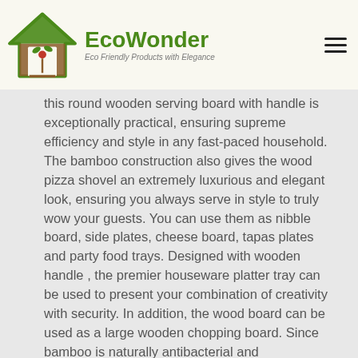[Figure (logo): EcoWonder logo: green house with leaves and brown base, with text 'EcoWonder' in green and tagline 'Eco Friendly Products with Elegance' in grey]
this round wooden serving board with handle is exceptionally practical, ensuring supreme efficiency and style in any fast-paced household. The bamboo construction also gives the wood pizza shovel an extremely luxurious and elegant look, ensuring you always serve in style to truly wow your guests. You can use them as nibble board, side plates, cheese board, tapas plates and party food trays. Designed with wooden handle , the premier houseware platter tray can be used to present your combination of creativity with security. In addition, the wood board can be used as a large wooden chopping board. Since bamboo is naturally antibacterial and antimicrobial and therefore the cutting board